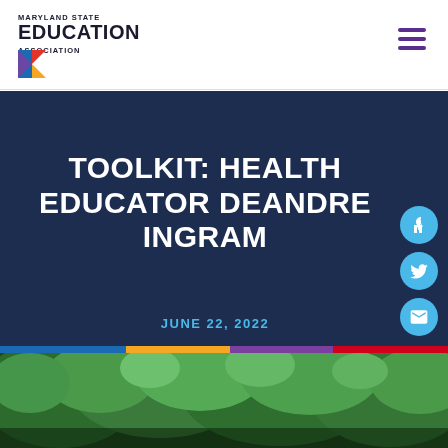[Figure (logo): Maryland State Education Association logo with colorful angular icon and text]
TOOLKIT: HEALTH EDUCATOR DEANDRE INGRAM
JUNE 22, 2022
[Figure (photo): Green trees foliage photo at the bottom of the page]